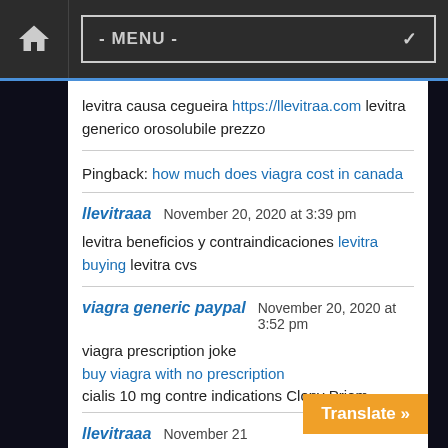- MENU -
levitra causa cegueira https://llevitraa.com levitra generico orosolubile prezzo
Pingback: how much does viagra cost in canada
llevitraaa — November 20, 2020 at 3:39 pm
levitra beneficios y contraindicaciones levitra buying levitra cvs
viagra generic paypal — November 20, 2020 at 3:52 pm
viagra prescription joke
buy viagra with no prescription
cialis 10 mg contre indications Clopy Priem
llevitraaa — November 21